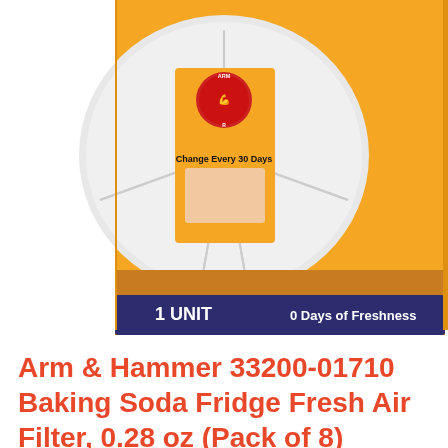[Figure (photo): Arm & Hammer Baking Soda Fridge Fresh Air Filter product package on orange/yellow blister card. The circular white plastic holder with baking soda inside is shown. Package reads '1 UNIT' on bottom left, '30 Days of Freshness' on bottom right (partially visible), and 'Change Every 30 Days' on the orange inner label. The Arm & Hammer red circular logo is at the top.]
Arm & Hammer 33200-01710 Baking Soda Fridge Fresh Air Filter, 0.28 oz (Pack of 8)
Environmentally sensible
User friendly
Place it virtually anywhere
Eliminates odors from food storage